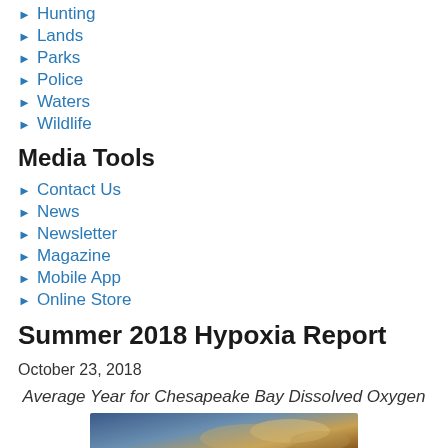Hunting
Lands
Parks
Police
Waters
Wildlife
Media Tools
Contact Us
News
Newsletter
Magazine
Mobile App
Online Store
Summer 2018 Hypoxia Report
October 23, 2018
Average Year for Chesapeake Bay Dissolved Oxygen
[Figure (photo): Outdoor nature/bay photo showing sky and clouds over water at dusk or dawn]